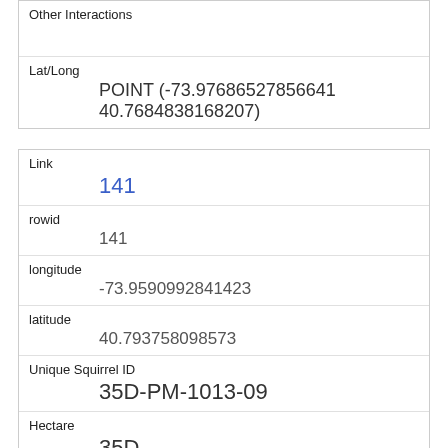| Other Interactions |  |
| Lat/Long | POINT (-73.97686527856641 40.7684838168207) |
| Link | 141 |
| rowid | 141 |
| longitude | -73.9590992841423 |
| latitude | 40.793758098573 |
| Unique Squirrel ID | 35D-PM-1013-09 |
| Hectare | 35D |
| Shift | PM |
| Date |  |